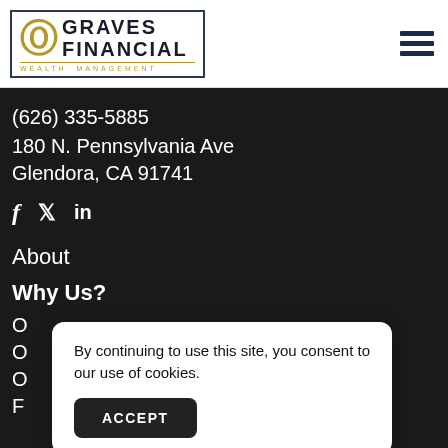[Figure (logo): Graves Financial Wealth Management logo with gold G icon and navy blue text, bordered rectangle]
(626) 335-5885
180 N. Pennsylvania Ave
Glendora, CA 91741
[Figure (illustration): Social media icons: Facebook (f), Twitter (bird), LinkedIn (in)]
About
Why Us?
O...
O...
O...
F...
By continuing to use this site, you consent to our use of cookies.